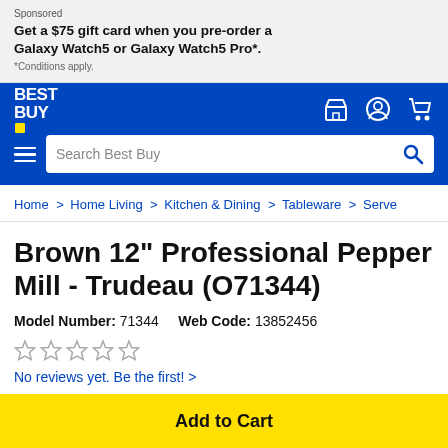Sponsored
Get a $75 gift card when you pre-order a Galaxy Watch5 or Galaxy Watch5 Pro*.
*Conditions apply.
[Figure (logo): Best Buy logo in white text on blue background with yellow rectangle accent]
Search Best Buy
Home > Home Living > Kitchen & Dining > Tableware > Serve
Brown 12" Professional Pepper Mill - Trudeau (O71344)
Model Number: 71344    Web Code: 13852456
No reviews yet. Be the first! >
Add to Cart